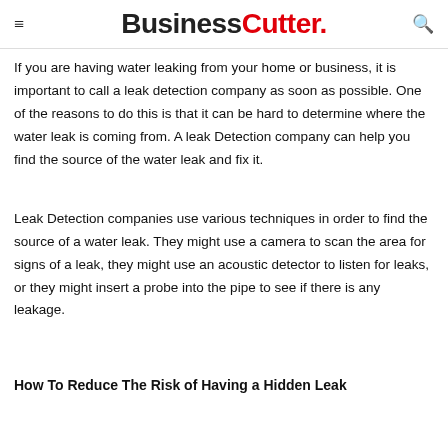BusinessCutter.
If you are having water leaking from your home or business, it is important to call a leak detection company as soon as possible. One of the reasons to do this is that it can be hard to determine where the water leak is coming from. A leak Detection company can help you find the source of the water leak and fix it.
Leak Detection companies use various techniques in order to find the source of a water leak. They might use a camera to scan the area for signs of a leak, they might use an acoustic detector to listen for leaks, or they might insert a probe into the pipe to see if there is any leakage.
How To Reduce The Risk of Having a Hidden Leak